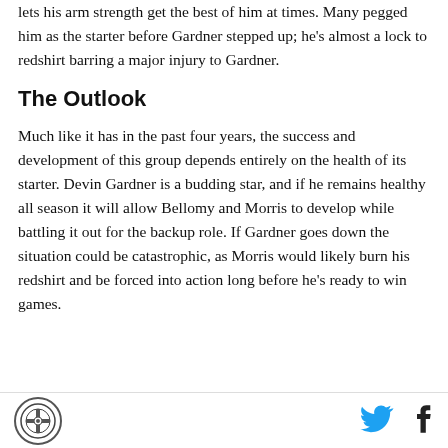lets his arm strength get the best of him at times. Many pegged him as the starter before Gardner stepped up; he's almost a lock to redshirt barring a major injury to Gardner.
The Outlook
Much like it has in the past four years, the success and development of this group depends entirely on the health of its starter. Devin Gardner is a budding star, and if he remains healthy all season it will allow Bellomy and Morris to develop while battling it out for the backup role. If Gardner goes down the situation could be catastrophic, as Morris would likely burn his redshirt and be forced into action long before he's ready to win games.
[Figure (logo): Circular logo with an emblem in the footer]
[Figure (logo): Twitter bird icon in footer]
[Figure (logo): Facebook f icon in footer]